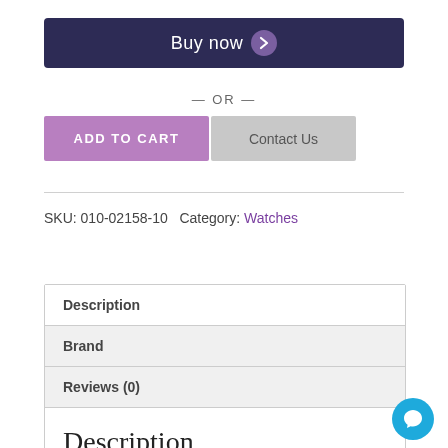Buy now
— OR —
ADD TO CART
Contact Us
SKU: 010-02158-10  Category: Watches
Description
Brand
Reviews (0)
Description